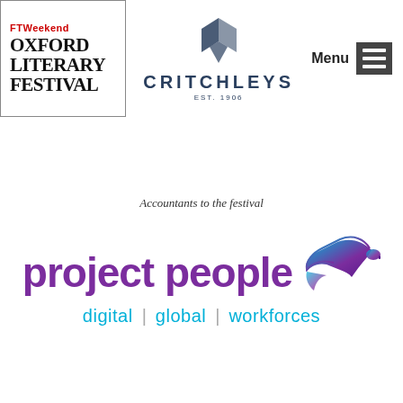[Figure (logo): FT Weekend Oxford Literary Festival logo in a bordered box]
[Figure (logo): Critchleys logo with geometric diamond/arrow icon above, EST. 1906 below]
[Figure (screenshot): Menu button with hamburger icon]
Accountants to the festival
[Figure (logo): Project People logo with purple text and blue/purple eagle bird, tagline: digital | global | workforces]